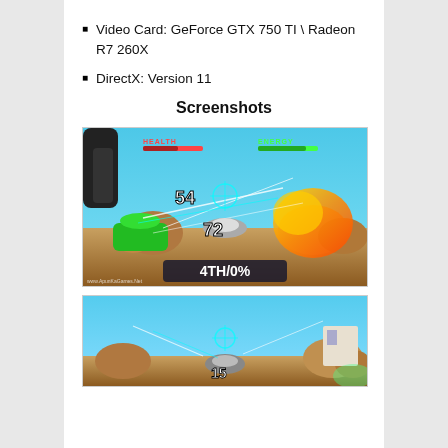Video Card: GeForce GTX 750 TI \ Radeon R7 260X
DirectX: Version 11
Screenshots
[Figure (screenshot): Racing game screenshot showing a spaceship/hovercraft racer. HUD displays HEALTH and ENERGY bars at top, score '54' and '72' in center, race position '4TH/0%' at bottom center. Watermark: www.ApunKaGames.Net. Colorful sci-fi environment with rock formations and explosions.]
[Figure (screenshot): Second racing game screenshot showing similar hovercraft racer from behind, sci-fi environment with rocky terrain and blue sky. Score '15' visible at center-bottom area.]